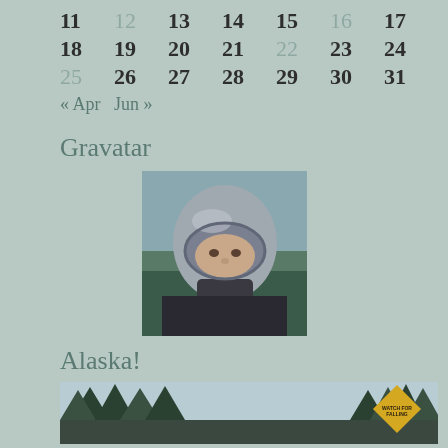| 11 | 12 | 13 | 14 | 15 | 16 | 17 |
| 18 | 19 | 20 | 21 | 22 | 23 | 24 |
| 25 | 26 | 27 | 28 | 29 | 30 | 31 |
« Apr   Jun »
Gravatar
[Figure (photo): Person wearing a motorcycle helmet and jacket, outdoors in rainy/wet conditions]
Alaska!
[Figure (photo): Forest road with evergreen trees and a yellow warning road sign]